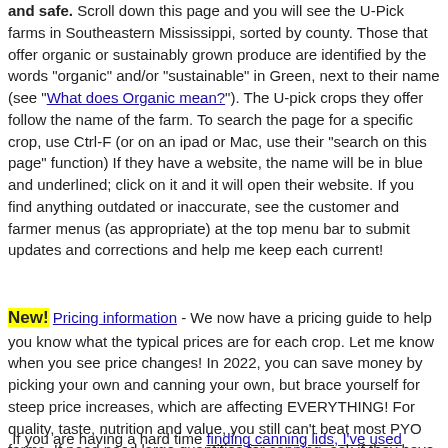and safe. Scroll down this page and you will see the U-Pick farms in Southeastern Mississippi, sorted by county. Those that offer organic or sustainably grown produce are identified by the words "organic" and/or "sustainable" in Green, next to their name (see "What does Organic mean?"). The U-pick crops they offer follow the name of the farm. To search the page for a specific crop, use Ctrl-F (or on an ipad or Mac, use their "search on this page" function) If they have a website, the name will be in blue and underlined; click on it and it will open their website. If you find anything outdated or inaccurate, see the customer and farmer menus (as appropriate) at the top menu bar to submit updates and corrections and help me keep each current!
New! Pricing information - We now have a pricing guide to help you know what the typical prices are for each crop. Let me know when you see price changes! In 2022, you can save money by picking your own and canning your own, but brace yourself for steep price increases, which are affecting EVERYTHING! For quality, taste, nutrition and value, you still can't beat most PYO farms. If need need large quantities for canning, ask if they have "seconds"
If you are having a hard time finding canning lids, I've used these,